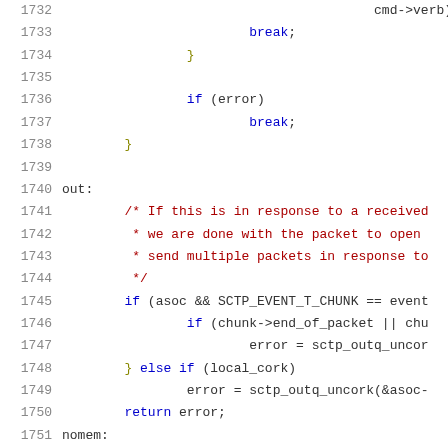Source code listing, lines 1732-1753, C language kernel/networking code (SCTP)